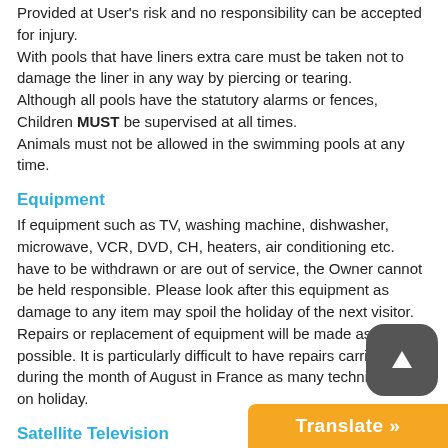Provided at User's risk and no responsibility can be accepted for injury.
With pools that have liners extra care must be taken not to damage the liner in any way by piercing or tearing.
Although all pools have the statutory alarms or fences, Children MUST be supervised at all times.
Animals must not be allowed in the swimming pools at any time.
Equipment
If equipment such as TV, washing machine, dishwasher, microwave, VCR, DVD, CH, heaters, air conditioning etc. have to be withdrawn or are out of service, the Owner cannot be held responsible. Please look after this equipment as damage to any item may spoil the holiday of the next visitor.
Repairs or replacement of equipment will be made as soon as possible. It is particularly difficult to have repairs carried out during the month of August in France as many technicians are on holiday.
Satellite Television
Where available but may not include acces…